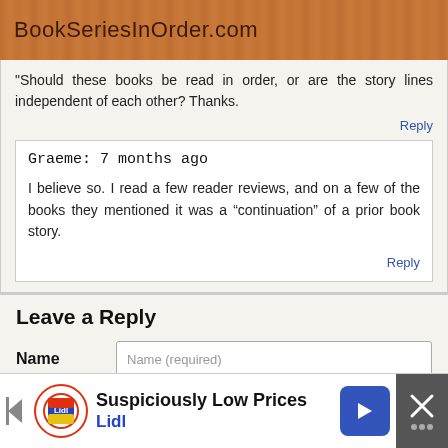BookSeriesInOrder.com
“Should these books be read in order, or are the story lines independent of each other? Thanks.
Reply
Graeme: 7 months ago
I believe so. I read a few reader reviews, and on a few of the books they mentioned it was a “continuation” of a prior book story.
Reply
Leave a Reply
Name
Name (required)
Email
Email (required)
[Figure (infographic): Advertisement banner for Lidl: Suspiciously Low Prices with play button, Lidl logo, navigation arrow icon, and close/X button]